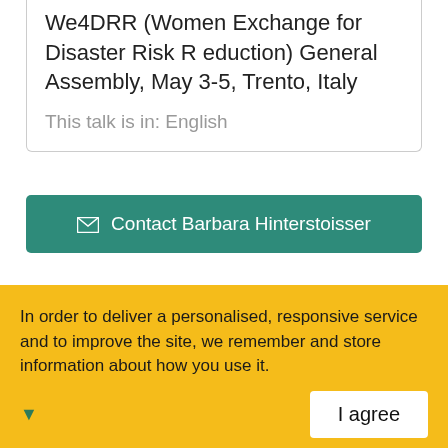We4DRR (Women Exchange for Disaster Risk R eduction) General Assembly, May 3-5, Trento, Italy
This talk is in: English
Contact Barbara Hinterstoisser
In order to deliver a personalised, responsive service and to improve the site, we remember and store information about how you use it.
I agree